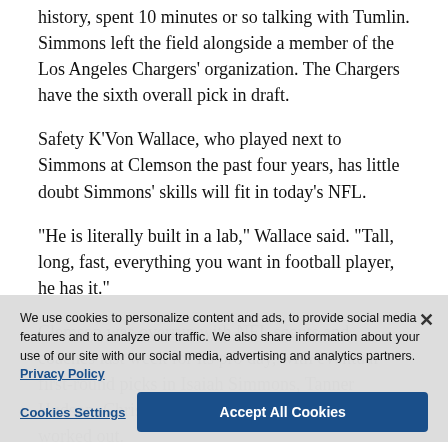history, spent 10 minutes or so talking with Tumlin. Simmons left the field alongside a member of the Los Angeles Chargers' organization. The Chargers have the sixth overall pick in draft.
Safety K'Von Wallace, who played next to Simmons at Clemson the past four years, has little doubt Simmons' skills will fit in today's NFL.
“He is literally built in a lab,” Wallace said. “Tall, long, fast, everything you want in football player, he has it.”
Clemson was overrun with NFL scouts and coaches last week for its pro day, with eventual first-round picks in Isaiah Simmons, Tanner Hudson, Christrian Wilkins and Dexter Lawrence worked out.
He expects the same in 2021 when the Tigers offensive firepower, including prospective No. 1 overall pick quarterback Trevor Lawrence, and two-time defending ACC player of the year in running
We use cookies to personalize content and ads, to provide social media features and to analyze our traffic. We also share information about your use of our site with our social media, advertising and analytics partners. Privacy Policy
Cookies Settings    Accept All Cookies